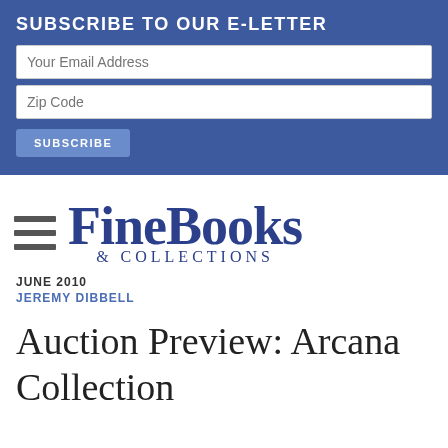SUBSCRIBE TO OUR E-LETTER
Your Email Address
Zip Code
SUBSCRIBE
[Figure (logo): FineBooks & Collections magazine logo with hamburger menu icon to the left. Large serif text reading 'FineBooks' with '& COLLECTIONS' in smaller spaced uppercase letters below.]
JUNE 2010
JEREMY DIBBELL
Auction Preview: Arcana Collection